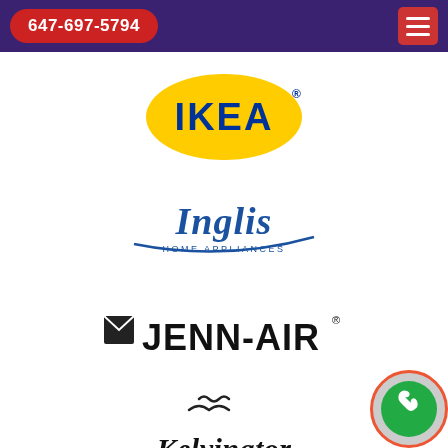647-697-5794
[Figure (logo): IKEA logo — blue text on yellow oval]
[Figure (logo): Inglis Home Appliances logo — blue italic script with arc underline]
[Figure (logo): Jenn-Air logo — black text with envelope icon]
[Figure (logo): Kelvinator logo — black script with steam swirl icon]